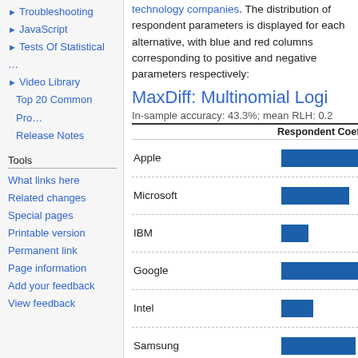► Troubleshooting
► JavaScript
► Tests Of Statistical …
► Video Library
Top 20 Common Pro…
Release Notes
Tools
What links here
Related changes
Special pages
Printable version
Permanent link
Page information
Add your feedback
View feedback
technology companies. The distribution of respondent parameters is displayed for each alternative, with blue and red columns corresponding to positive and negative parameters respectively:
MaxDiff: Multinomial Logi
In-sample accuracy: 43.3%; mean RLH: 0.2
[Figure (bar-chart): Horizontal bar chart showing respondent coefficients for technology companies. Blue bars represent positive parameters, red bars represent negative parameters.]